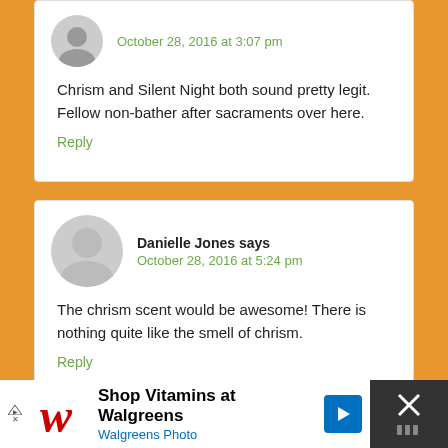October 28, 2016 at 3:07 pm
Chrism and Silent Night both sound pretty legit. Fellow non-bather after sacraments over here.
Reply
Danielle Jones says
October 28, 2016 at 5:24 pm
The chrism scent would be awesome! There is nothing quite like the smell of chrism.
Reply
Shop Vitamins at Walgreens
Walgreens Photo